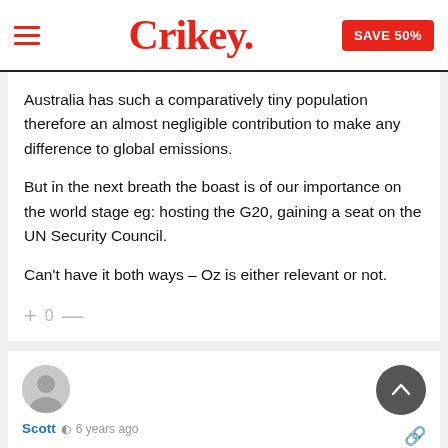Crikey. SAVE 50%
Australia has such a comparatively tiny population therefore an almost negligible contribution to make any difference to global emissions.
But in the next breath the boast is of our importance on the world stage eg: hosting the G20, gaining a seat on the UN Security Council.
Can't have it both ways – Oz is either relevant or not.
Scott  6 years ago